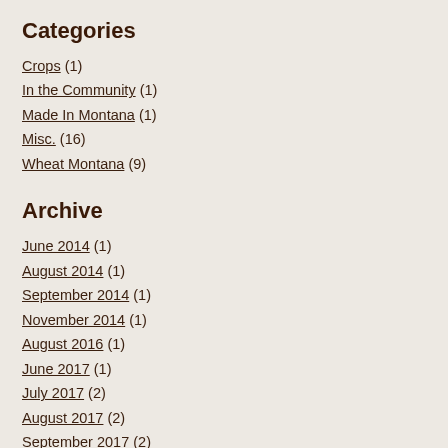Categories
Crops (1)
In the Community (1)
Made In Montana (1)
Misc. (16)
Wheat Montana (9)
Archive
June 2014 (1)
August 2014 (1)
September 2014 (1)
November 2014 (1)
August 2016 (1)
June 2017 (1)
July 2017 (2)
August 2017 (2)
September 2017 (2)
October 2017 (2)
November 2017 (2)
December 2017 (2)
January 2018 (2)